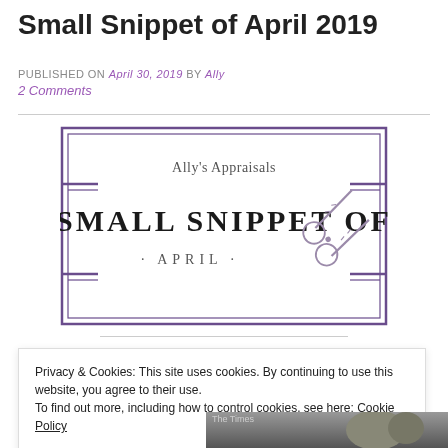Small Snippet of April 2019
PUBLISHED ON April 30, 2019 by Ally
2 Comments
[Figure (logo): Ally's Appraisals logo with text 'SMALL SNIPPET OF · APRIL ·' and scissors icon, inside a purple double-line rectangle border]
Privacy & Cookies: This site uses cookies. By continuing to use this website, you agree to their use.
To find out more, including how to control cookies, see here: Cookie Policy
Close and accept
[Figure (photo): Partial photo strip at bottom showing 'The Times' label and a person's image]